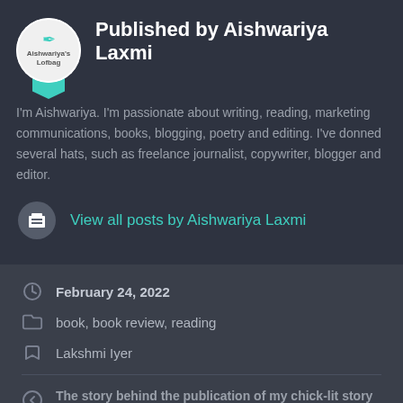Published by Aishwariya Laxmi
I'm Aishwariya. I'm passionate about writing, reading, marketing communications, books, blogging, poetry and editing. I've donned several hats, such as freelance journalist, copywriter, blogger and editor.
View all posts by Aishwariya Laxmi
February 24, 2022
book, book review, reading
Lakshmi Iyer
The story behind the publication of my chick-lit story